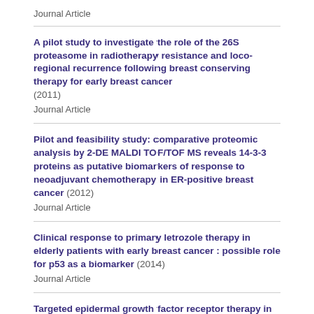Journal Article
A pilot study to investigate the role of the 26S proteasome in radiotherapy resistance and loco-regional recurrence following breast conserving therapy for early breast cancer (2011)
Journal Article
Pilot and feasibility study: comparative proteomic analysis by 2-DE MALDI TOF/TOF MS reveals 14-3-3 proteins as putative biomarkers of response to neoadjuvant chemotherapy in ER-positive breast cancer (2012)
Journal Article
Clinical response to primary letrozole therapy in elderly patients with early breast cancer : possible role for p53 as a biomarker (2014)
Journal Article
Targeted epidermal growth factor receptor therapy in